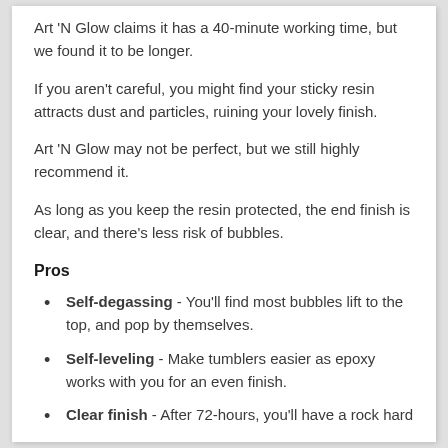Art 'N Glow claims it has a 40-minute working time, but we found it to be longer.
If you aren't careful, you might find your sticky resin attracts dust and particles, ruining your lovely finish.
Art 'N Glow may not be perfect, but we still highly recommend it.
As long as you keep the resin protected, the end finish is clear, and there's less risk of bubbles.
Pros
Self-degassing - You'll find most bubbles lift to the top, and pop by themselves.
Self-leveling - Make tumblers easier as epoxy works with you for an even finish.
Clear finish - After 72-hours, you'll have a rock hard